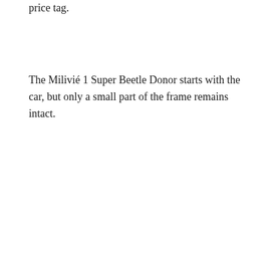price tag.
The Milivié 1 Super Beetle Donor starts with the car, but only a small part of the frame remains intact.